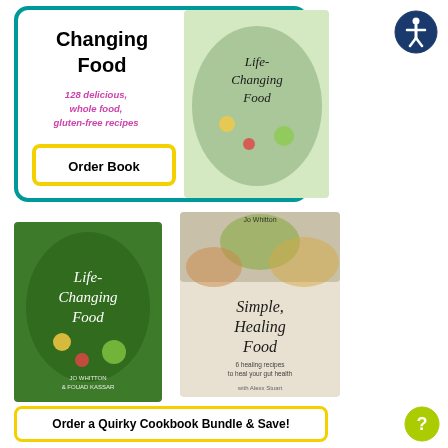[Figure (illustration): Top promotional section with teal border containing book title 'Life-Changing Food', subtitle '128 delicious, whole food, gluten-free recipes', an Order Book button with yellow border, and a book cover image of Life-Changing Food.]
[Figure (illustration): Bottom section showing two book covers side by side: 'Life-Changing Food' and 'Simple, Healing Food' by Jo Whitton.]
Order a Quirky Cookbook Bundle & Save!